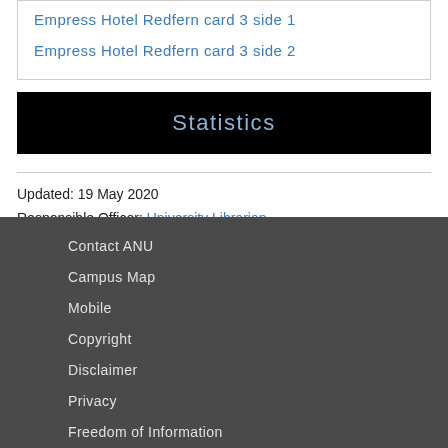Empress Hotel Redfern card 3 side 1
Empress Hotel Redfern card 3 side 2
Statistics
Updated: 19 May 2020
Responsible Officer: University Librarian
Page Contact: Library Systems & Web Coordinator
Contact ANU
Campus Map
Mobile
Copyright
Disclaimer
Privacy
Freedom of Information